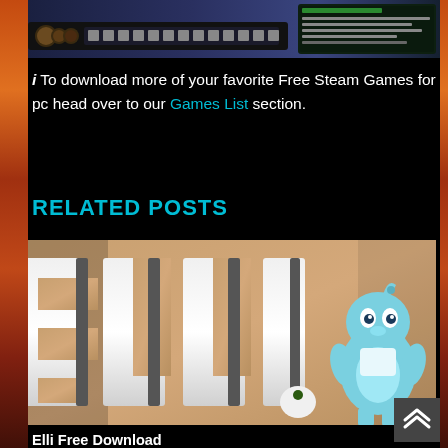[Figure (screenshot): Game screenshot showing a dark fantasy/RPG game UI with toolbar icons and a notification panel in the top right corner]
i To download more of your favorite Free Steam Games for pc head over to our Games List section.
RELATED POSTS
[Figure (photo): Image showing large white 3D letters spelling 'ELLI' with a small blue/teal cartoon creature character on the right side against a warm tan background]
Elli Free Download